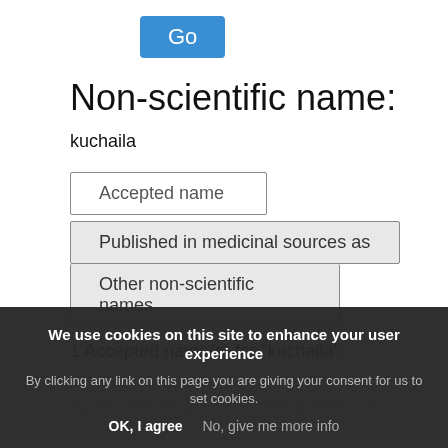[Figure (screenshot): Blue 'Go' button]
Non-scientific name:
kuchaila
Accepted name
Published in medicinal sources as
Other non-scientific names
1 Accepted name(s) for "kuchaila":
Accepted name
Cyclea peltata (Lam.) Hooker & Thomson
We use cookies on this site to enhance your user experience
By clicking any link on this page you are giving your consent for us to set cookies.
OK, I agree   No, give me more info